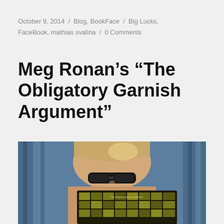October 9, 2014 / Blog, BookFace / Big Lucks, FaceBook, mathias svalina / 0 Comments
Meg Ronan’s “The Obligatory Garnish Argument”
[Figure (photo): A person holding up a book titled 'the obligatory garnish argument' in front of their face, with blue curtains in the background. The person wears glasses and has light brown hair. The book cover has a dark background with a grid of small yellowish images.]